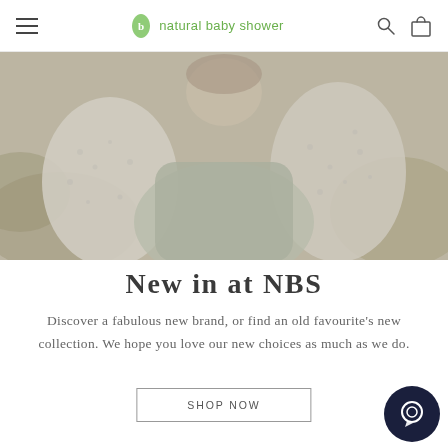natural baby shower
[Figure (photo): Overhead view of a person in a fluffy white/grey sweater lying in grass, holding up their hands]
New in at NBS
Discover a fabulous new brand, or find an old favourite's new collection. We hope you love our new choices as much as we do.
SHOP NOW